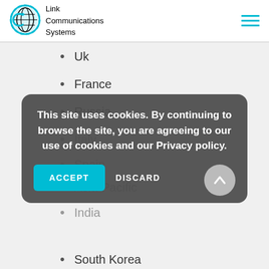[Figure (logo): Link Communications Systems logo — circular teal globe icon with 'L C S' letters, company name in black text]
Uk
France
Russia
Italy
Spain
Asia-Pacific
India
South Korea
This site uses cookies. By continuing to browse the site, you are agreeing to our use of cookies and our Privacy policy.
ACCEPT   DISCARD